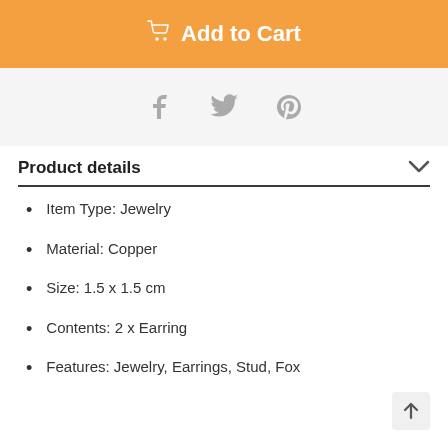Add to Cart
[Figure (infographic): Social sharing icons: Facebook, Twitter, Pinterest]
Product details
Item Type: Jewelry
Material: Copper
Size: 1.5 x 1.5 cm
Contents: 2 x Earring
Features: Jewelry, Earrings, Stud, Fox